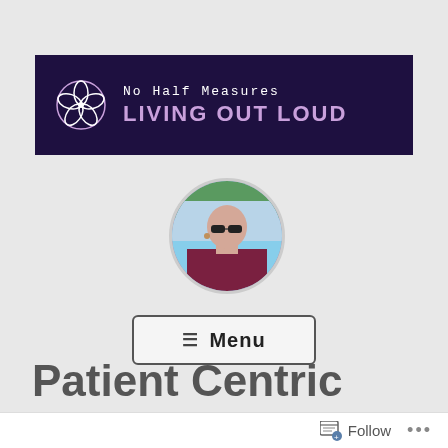[Figure (logo): Banner with logo for 'No Half Measures - Living Out Loud' website. Dark purple background with floral/pinwheel logo and text.]
[Figure (photo): Circular profile photo of a bald woman wearing sunglasses and a dark red/maroon off-shoulder top, outdoors.]
[Figure (other): Menu button with hamburger icon and the word Menu]
Patient Centric
Follow ...